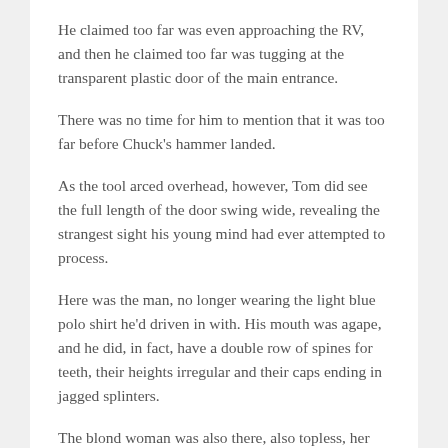He claimed too far was even approaching the RV, and then he claimed too far was tugging at the transparent plastic door of the main entrance.
There was no time for him to mention that it was too far before Chuck's hammer landed.
As the tool arced overhead, however, Tom did see the full length of the door swing wide, revealing the strangest sight his young mind had ever attempted to process.
Here was the man, no longer wearing the light blue polo shirt he'd driven in with. His mouth was agape, and he did, in fact, have a double row of spines for teeth, their heights irregular and their caps ending in jagged splinters.
The blond woman was also there, also topless, her sleepy eyes peering over his right shoulder.
To the left, another set of eyes looked on from beyond